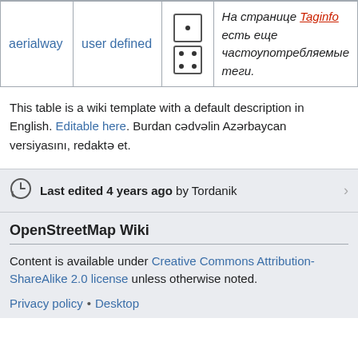|  |  |  |  |
| --- | --- | --- | --- |
| aerialway | user defined | [icons] | На странице Taginfo есть еще частоупотребляемые теги. |
This table is a wiki template with a default description in English. Editable here. Burdan cədvəlin Azərbaycan versiyasını, redaktə et.
Last edited 4 years ago by Tordanik
OpenStreetMap Wiki
Content is available under Creative Commons Attribution-ShareAlike 2.0 license unless otherwise noted.
Privacy policy • Desktop